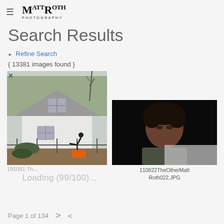MR Photography (logo)
Search Results
▶ Refine Search
{ 13381 images found }
[Figure (photo): Photo of a white house with a person bending over near a fence, bare trees in background, orange equipment visible]
[Figure (photo): Portrait photo of a young man with curly dark hair against a black background]
Loading (99/100)...
110822TheOtherMattRoth022.JPG
Page 1 of 134  >  <